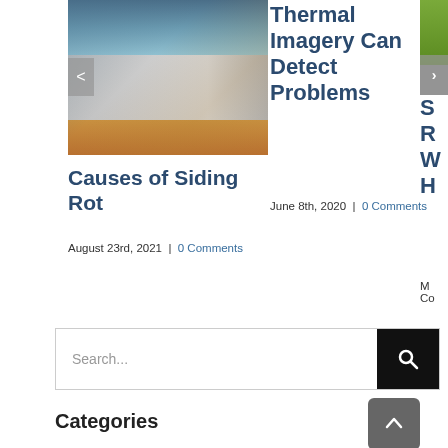[Figure (photo): Photo of building exterior with siding showing horizontal panels and brown corner section]
Causes of Siding Rot
August 23rd, 2021  |  0 Comments
Thermal Imagery Can Detect Problems
June 8th, 2020  |  0 Comments
[Figure (photo): Partially visible photo on right edge]
S R W H M Co
Search...
Categories